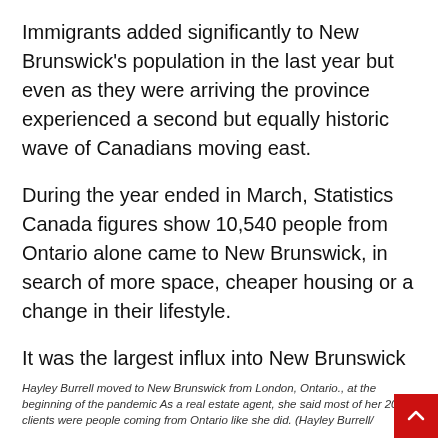Immigrants added significantly to New Brunswick's population in the last year but even as they were arriving the province experienced a second but equally historic wave of Canadians moving east.
During the year ended in March, Statistics Canada figures show 10,540 people from Ontario alone came to New Brunswick, in search of more space, cheaper housing or a change in their lifestyle.
It was the largest influx into New Brunswick from a single province in any 12 month period since records for that began in 1952.
Hayley Burrell moved to New Brunswick from London, Ontario., at the beginning of the pandemic As a real estate agent, she said most of her 2021 clients were people coming from Ontario like she did. (Hayley Burrell/